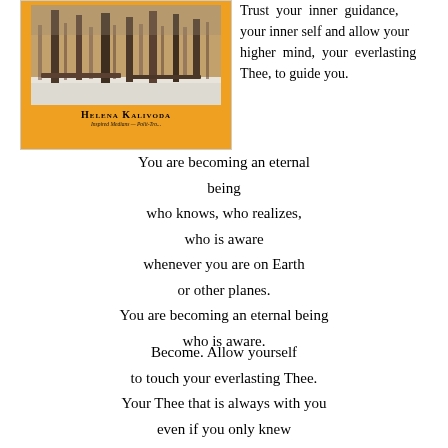[Figure (illustration): Book cover of Helena Kalivoda with orange background, winter forest photo, author name in small caps, and subtitle text]
Trust your inner guidance, your inner self and allow your higher mind, your everlasting Thee, to guide you.
You are becoming an eternal being
who knows, who realizes,
who is aware
whenever you are on Earth
or other planes.
You are becoming an eternal being
who is aware.
Become. Allow yourself
to touch your everlasting Thee.
Your Thee that is always with you
even if you only knew